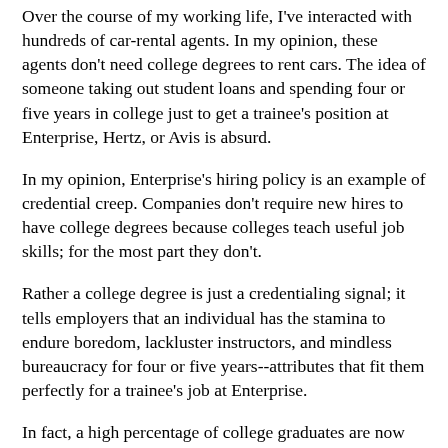Over the course of my working life, I've interacted with hundreds of car-rental agents. In my opinion, these agents don't need college degrees to rent cars. The idea of someone taking out student loans and spending four or five years in college just to get a trainee's position at Enterprise, Hertz, or Avis is absurd.
In my opinion, Enterprise's hiring policy is an example of credential creep. Companies don't require new hires to have college degrees because colleges teach useful job skills; for the most part they don't.
Rather a college degree is just a credentialing signal; it tells employers that an individual has the stamina to endure boredom, lackluster instructors, and mindless bureaucracy for four or five years--attributes that fit them perfectly for a trainee's job at Enterprise.
In fact, a high percentage of college graduates are now taking jobs that don't require a college degree. According to a report by the Federal Reserve Bank of New York, issued less than two years ago, 43.5 percent of college graduates are in jobs that typically don't require college education.